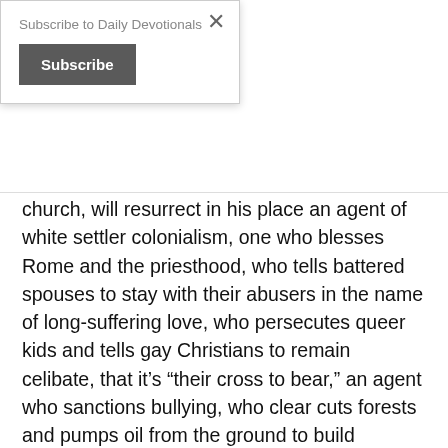Subscribe to Daily Devotionals
Subscribe
church, will resurrect in his place an agent of white settler colonialism, one who blesses Rome and the priesthood, who tells battered spouses to stay with their abusers in the name of long-suffering love, who persecutes queer kids and tells gay Christians to remain celibate, that it’s “their cross to bear,” an agent who sanctions bullying, who clear cuts forests and pumps oil from the ground to build sprawling highways so that Christians can park their cars at suburban churches on Easter morning and sing praises to an authoritarian king.
Honestly, the only thing that keeps me Christian is that my